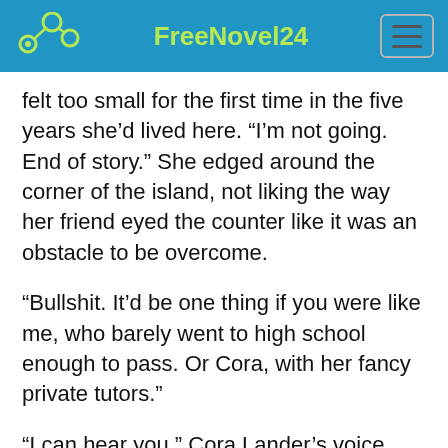FreeNovel24
felt too small for the first time in the five years she’d lived here. “I’m not going. End of story.” She edged around the corner of the island, not liking the way her friend eyed the counter like it was an obstacle to be overcome.
“Bullshit. It’d be one thing if you were like me, who barely went to high school enough to pass. Or Cora, with her fancy private tutors.”
“I can hear you.” Cora Lander’s voice floated down from her room upstairs.
Brooklyn shot a look at the open balcony and the...